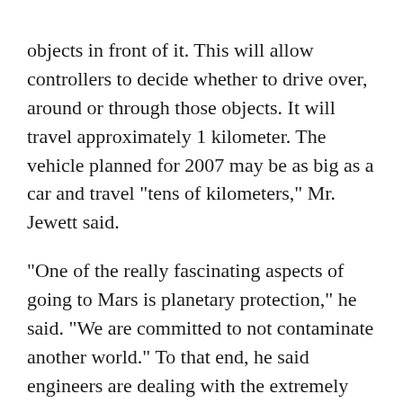objects in front of it. This will allow controllers to decide whether to drive over, around or through those objects. It will travel approximately 1 kilometer. The vehicle planned for 2007 may be as big as a car and travel "tens of kilometers," Mr. Jewett said.

"One of the really fascinating aspects of going to Mars is planetary protection," he said. "We are committed to not contaminate another world." To that end, he said engineers are dealing with the extremely difficult problem of how to ensure that there is no biological material on a spacecraft when it leaves Earth, including tiny spores. "There were a lot of dead bugs on the Pathfinder spacecraft," he said. They didn't cause any problems, but scientists will want to be sure that they when they comb a